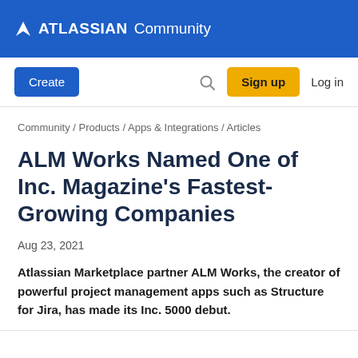ATLASSIAN Community
[Figure (logo): Atlassian Community navigation bar with Create button, search icon, Sign up button, and Log in link]
Community / Products / Apps & Integrations / Articles
ALM Works Named One of Inc. Magazine's Fastest-Growing Companies
Aug 23, 2021
Atlassian Marketplace partner ALM Works, the creator of powerful project management apps such as Structure for Jira, has made its Inc. 5000 debut.